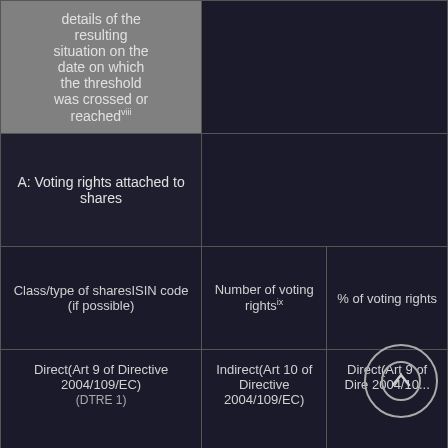| details of the resulting situation on the date on which the threshold was crossed or reached viii | Number of voting rights ix | % of voting rights |
| --- | --- | --- |
| A: Voting rights attached to shares |  |  |
| Class/type of sharesISIN code (if possible) | Number of voting rights ix | % of voting rights |
| Direct(Art 9 of Directive 2004/109/EC)(DTRE 1) | Indirect(Art 10 of Directive 2004/109/EC) | Direct(Art 9 of Dire 2004/109/EC)(DTRE |